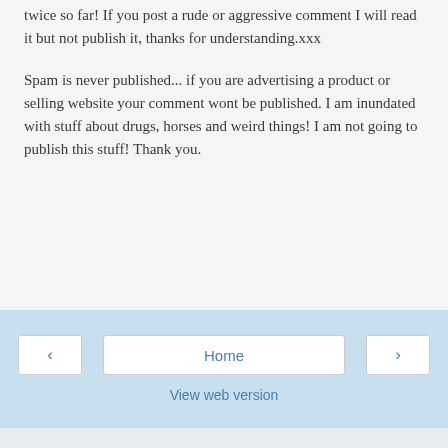twice so far! If you post a rude or aggressive comment I will read it but not publish it, thanks for understanding.xxx
Spam is never published... if you are advertising a product or selling website your comment wont be published. I am inundated with stuff about drugs, horses and weird things! I am not going to publish this stuff! Thank you.
‹  Home  ›  View web version